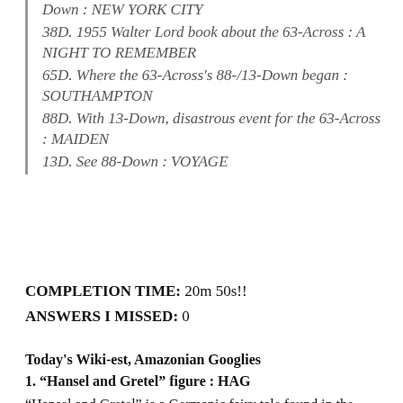Down : NEW YORK CITY
38D. 1955 Walter Lord book about the 63-Across : A NIGHT TO REMEMBER
65D. Where the 63-Across's 88-/13-Down began : SOUTHAMPTON
88D. With 13-Down, disastrous event for the 63-Across : MAIDEN
13D. See 88-Down : VOYAGE
COMPLETION TIME: 20m 50s!!
ANSWERS I MISSED: 0
Today's Wiki-est, Amazonian Googlies
1. “Hansel and Gretel” figure : HAG
“Hansel and Gretel” is a Germanic fairy tale found in the collection of the Brothers Grimm. It tells of